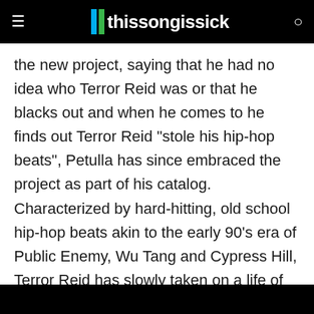thissongissick
the new project, saying that he had no idea who Terror Reid was or that he blacks out and when he comes to he finds out Terror Reid “stole his hip-hop beats”, Petulla has since embraced the project as part of his catalog. Characterized by hard-hitting, old school hip-hop beats akin to the early 90’s era of Public Enemy, Wu Tang and Cypress Hill, Terror Reid has slowly taken on a life of its own and has even started to be booked alongside Getter at some major festivals.